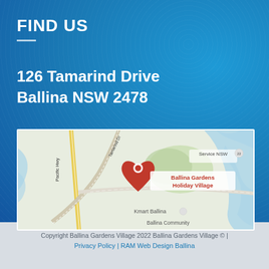FIND US
126 Tamarind Drive
Ballina NSW 2478
[Figure (map): Google Maps screenshot showing location of Ballina Gardens Holiday Village at 126 Tamarind Drive, Ballina NSW. Map shows Pacific Hwy, Tamarind Dr, Service NSW, and a red location pin labeled 'Ballina Gardens Holiday Village'. Also shows Kmart Ballina and Ballina Community in lower portion.]
Copyright Ballina Gardens Village 2022 Ballina Gardens Village © | Privacy Policy | RAM Web Design Ballina